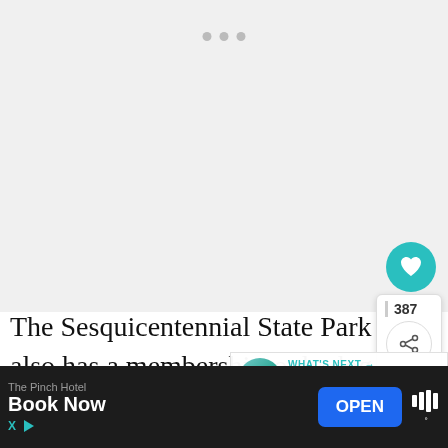[Figure (photo): Large image placeholder area with loading dots (gray), appears to be a loading or blank image area]
The Sesquicentennial State Park also has a membership-only dog park where your dog can run off-leash. Dogs can also play
[Figure (screenshot): WHAT'S NEXT panel with thumbnail and text: The 17+ BEST Things to D...]
The Pinch Hotel
Book Now
OPEN